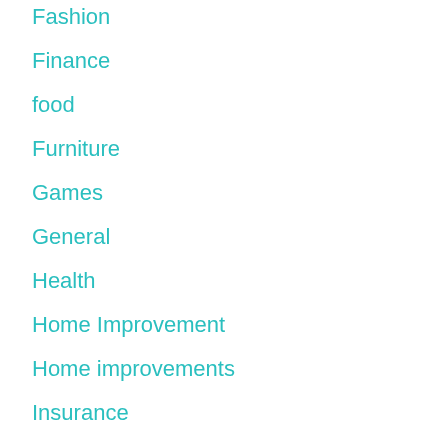Fashion
Finance
food
Furniture
Games
General
Health
Home Improvement
Home improvements
Insurance
Internet Marketing